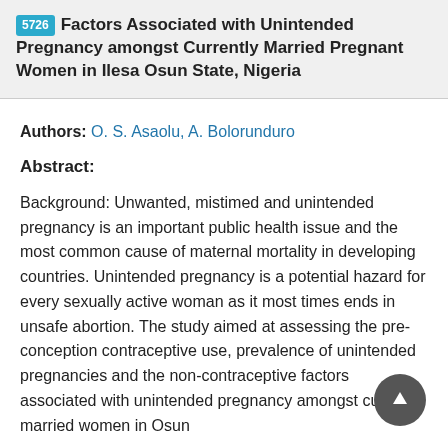5726 Factors Associated with Unintended Pregnancy amongst Currently Married Pregnant Women in Ilesa Osun State, Nigeria
Authors: O. S. Asaolu, A. Bolorunduro
Abstract:
Background: Unwanted, mistimed and unintended pregnancy is an important public health issue and the most common cause of maternal mortality in developing countries. Unintended pregnancy is a potential hazard for every sexually active woman as it most times ends in unsafe abortion. The study aimed at assessing the pre-conception contraceptive use, prevalence of unintended pregnancies and the non-contraceptive factors associated with unintended pregnancy amongst currently married women in Osun